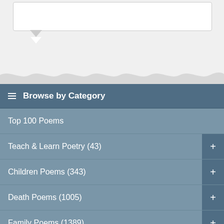[Figure (screenshot): Top section showing a speech bubble UI element with white rounded rectangle and tail pointing down, on a light gray background with wavy divider at bottom]
Browse by Category
Top 100 Poems
Teach & Learn Poetry (43)
Children Poems (343)
Death Poems (1005)
Family Poems (1389)
Famous Poems (301)
Friendship Poems (463)
Funny Poems (132)